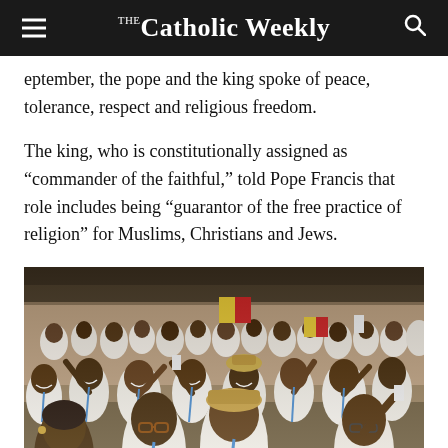The Catholic Weekly
eptember, the pope and the king spoke of peace, tolerance, respect and religious freedom.
The king, who is constitutionally assigned as “commander of the faithful,” told Pope Francis that role includes being “guarantor of the free practice of religion” for Muslims, Christians and Jews.
[Figure (photo): A large crowd of people, mostly women wearing white outfits with blue lanyards, celebrating joyfully and waving small Vatican flags inside a large hall.]